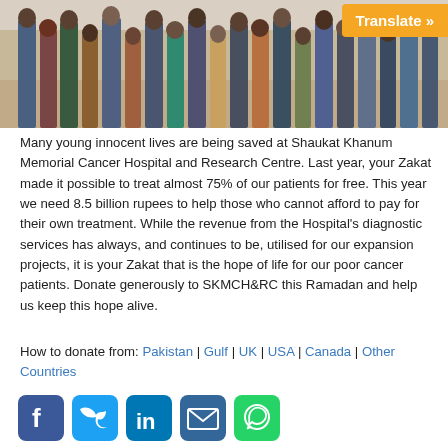[Figure (photo): Group photo of people standing in a row indoors, showing mostly lower bodies and feet, with beige carpet floor visible.]
Many young innocent lives are being saved at Shaukat Khanum Memorial Cancer Hospital and Research Centre. Last year, your Zakat made it possible to treat almost 75% of our patients for free. This year we need 8.5 billion rupees to help those who cannot afford to pay for their own treatment. While the revenue from the Hospital's diagnostic services has always, and continues to be, utilised for our expansion projects, it is your Zakat that is the hope of life for our poor cancer patients. Donate generously to SKMCH&RC this Ramadan and help us keep this hope alive.
How to donate from: Pakistan | Gulf | UK | USA | Canada | Other Countries
[Figure (infographic): Social media sharing icons: Facebook, Twitter, LinkedIn, Email, WhatsApp]